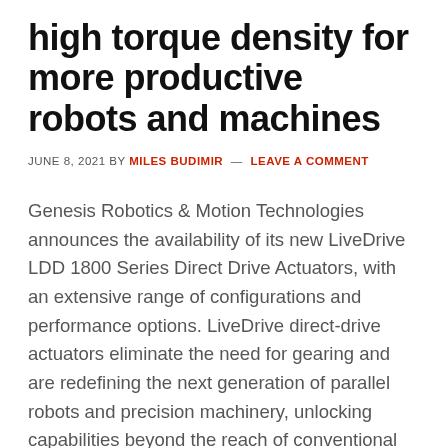high torque density for more productive robots and machines
JUNE 8, 2021 BY MILES BUDIMIR — LEAVE A COMMENT
Genesis Robotics & Motion Technologies announces the availability of its new LiveDrive LDD 1800 Series Direct Drive Actuators, with an extensive range of configurations and performance options. LiveDrive direct-drive actuators eliminate the need for gearing and are redefining the next generation of parallel robots and precision machinery, unlocking capabilities beyond the reach of conventional drivetrains, across many applications.